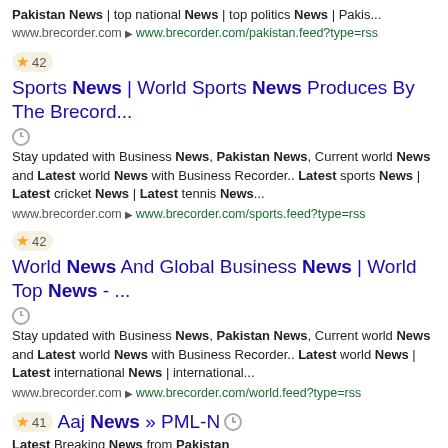Pakistan News | top national News | top politics News | Pakis...
www.brecorder.com ▶ www.brecorder.com/pakistan.feed?type=rss
★ 42  Sports News | World Sports News Produces By The Brecord...  🕐
Stay updated with Business News, Pakistan News, Current world News and Latest world News with Business Recorder.. Latest sports News | Latest cricket News | Latest tennis News...
www.brecorder.com ▶ www.brecorder.com/sports.feed?type=rss
★ 42  World News And Global Business News | World Top News - ...  🕐
Stay updated with Business News, Pakistan News, Current world News and Latest world News with Business Recorder.. Latest world News | Latest international News | international...
www.brecorder.com ▶ www.brecorder.com/world.feed?type=rss
★ 41  Aaj News » PML-N  🕐
Latest Breaking News from Pakistan
www.aaj.tv ▶ www.aaj.tv/tag/pml-n/feed/